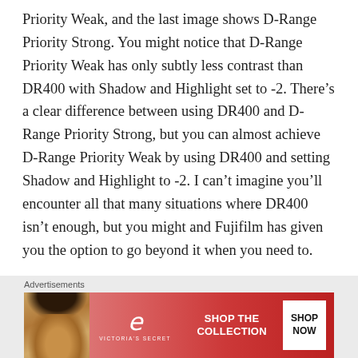Priority Weak, and the last image shows D-Range Priority Strong. You might notice that D-Range Priority Weak has only subtly less contrast than DR400 with Shadow and Highlight set to -2. There's a clear difference between using DR400 and D-Range Priority Strong, but you can almost achieve D-Range Priority Weak by using DR400 and setting Shadow and Highlight to -2. I can't imagine you'll encounter all that many situations where DR400 isn't enough, but you might and Fujifilm has given you the option to go beyond it when you need to.
[Figure (other): Victoria's Secret advertisement banner with a woman's photo on the left, the VS logo in the center, 'SHOP THE COLLECTION' text, and a 'SHOP NOW' button on a pink/red gradient background.]